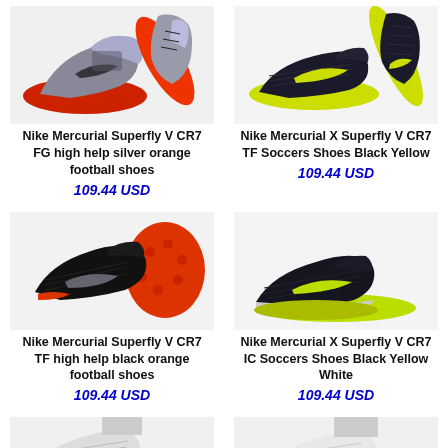[Figure (photo): Nike Mercurial Superfly V CR7 FG high help silver orange football shoes - product photo showing silver/grey and red cleats]
Nike Mercurial Superfly V CR7 FG high help silver orange football shoes
109.44 USD
[Figure (photo): Nike Mercurial X Superfly V CR7 TF Soccers Shoes Black Yellow - product photo showing black and yellow/green turf shoes]
Nike Mercurial X Superfly V CR7 TF Soccers Shoes Black Yellow
109.44 USD
[Figure (photo): Nike Mercurial Superfly V CR7 TF high help black orange football shoes - product photo showing black and orange turf shoes]
Nike Mercurial Superfly V CR7 TF high help black orange football shoes
109.44 USD
[Figure (photo): Nike Mercurial X Superfly V CR7 IC Soccers Shoes Black Yellow White - product photo showing black and yellow indoor shoes]
Nike Mercurial X Superfly V CR7 IC Soccers Shoes Black Yellow White
109.44 USD
[Figure (photo): Partial view of two more Nike soccer shoes at bottom of page, white/grey colorway]
[Figure (photo): Partial view of Nike soccer shoe at bottom of page, white/grey colorway]